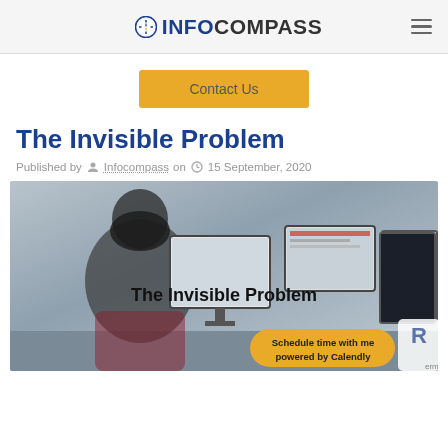INFOCOMPASS
Contact Us
The Invisible Problem
Published by Infocompass on 15 September, 2020
[Figure (photo): A person with long dark hair sitting at a desk with multiple monitors in a call center or office environment. Text overlay reads 'The Invisible Problem'. A Calendly scheduling button appears in the bottom right corner.]